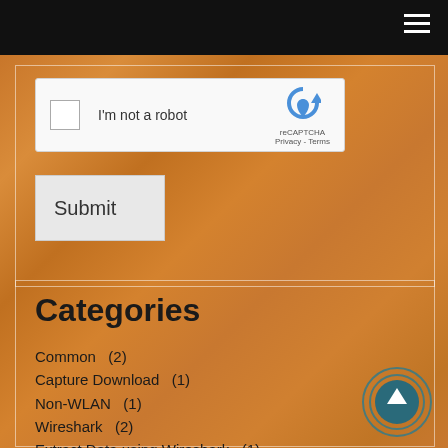[Figure (screenshot): reCAPTCHA widget with checkbox labeled 'I'm not a robot' and reCAPTCHA logo with Privacy - Terms text]
[Figure (screenshot): Submit button, light grey rectangular button]
Categories
Common   (2)
Capture Download   (1)
Non-WLAN   (1)
Wireshark   (2)
Extract Data using Wireshark   (1)